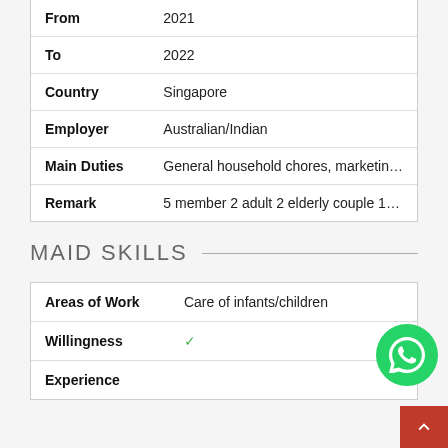| Field | Value |
| --- | --- |
| From | 2021 |
| To | 2022 |
| Country | Singapore |
| Employer | Australian/Indian |
| Main Duties | General household chores, marketin… |
| Remark | 5 member 2 adult 2 elderly couple 1… |
MAID SKILLS
| Field | Value |
| --- | --- |
| Areas of Work | Care of infants/children |
| Willingness | ✓ |
| Experience |  |